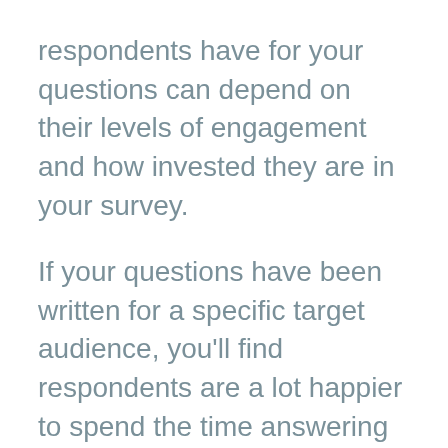respondents have for your questions can depend on their levels of engagement and how invested they are in your survey.
If your questions have been written for a specific target audience, you'll find respondents are a lot happier to spend the time answering them.
You can also circumvent this by running periodical micro-surveys with fewer questions. But you can't ensure every respondent will respond each time, so it